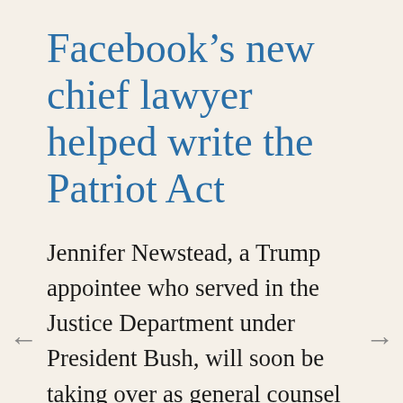Facebook’s new chief lawyer helped write the Patriot Act
Jennifer Newstead, a Trump appointee who served in the Justice Department under President Bush, will soon be taking over as general counsel of Facebook, the company announced in a press release on Monday afternoon. Newstead will